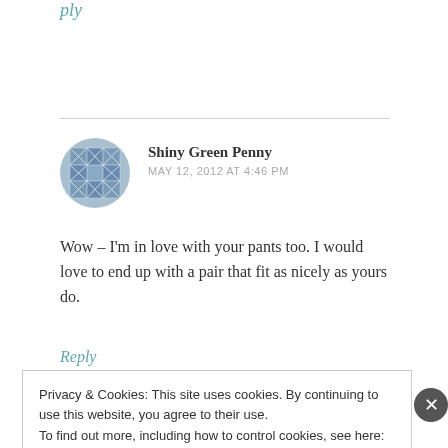Reply
Shiny Green Penny
MAY 12, 2012 AT 4:46 PM
Wow – I'm in love with your pants too. I would love to end up with a pair that fit as nicely as yours do.
Reply
Privacy & Cookies: This site uses cookies. By continuing to use this website, you agree to their use.
To find out more, including how to control cookies, see here: Cookie Policy
Close and accept